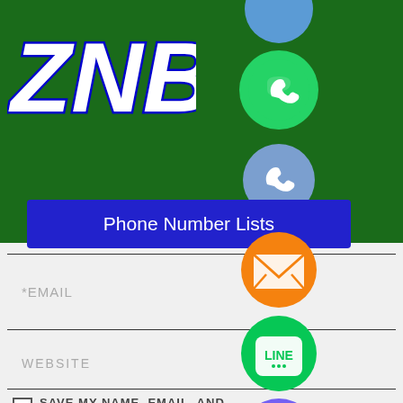[Figure (logo): ZNB logo in white bold italic letters with blue outline on dark green background]
[Figure (infographic): Social media contact icons column: blue icon (top, partial), WhatsApp green, phone call blue, email orange, LINE green, Viber purple, close green X]
[Figure (other): Blue button labeled 'Phone Number Lists']
*EMAIL
WEBSITE
SAVE MY NAME, EMAIL, AND WEBSITE IN THIS BROWSER FOR THE